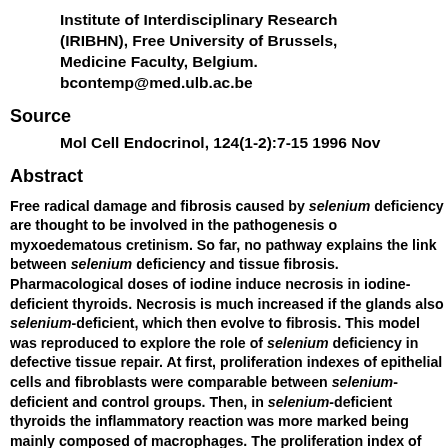Institute of Interdisciplinary Research (IRIBHN), Free University of Brussels, Medicine Faculty, Belgium. bcontemp@med.ulb.ac.be
Source
Mol Cell Endocrinol, 124(1-2):7-15 1996 Nov
Abstract
Free radical damage and fibrosis caused by selenium deficiency are thought to be involved in the pathogenesis of myxoedematous cretinism. So far, no pathway explains the link between selenium deficiency and tissue fibrosis. Pharmacological doses of iodine induce necrosis in iodine-deficient thyroids. Necrosis is much increased if the glands also selenium-deficient, which then evolve to fibrosis. This model was reproduced to explore the role of selenium deficiency in defective tissue repair. At first, proliferation indexes of epithelial cells and fibroblasts were comparable between selenium-deficient and control groups. Then, in selenium-deficient thyroids the inflammatory reaction was more marked being mainly composed of macrophages. The proliferation index of the epithelial cells decreased, while that of the fibroblasts increased. These thyroids evolved to fibrosis. TGF-beta immunostaining was prominent in the macrophages of selenium-deficient rats. Anti TGF-beta antibodies restored the proliferation indexes, and blocked